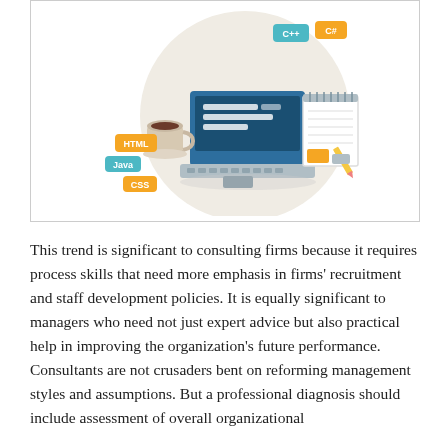[Figure (illustration): Illustration of a laptop computer with programming language tags (C++, C#, HTML, Java, CSS) on a circular beige background, with a coffee cup and notepad.]
This trend is significant to consulting firms because it requires process skills that need more emphasis in firms' recruitment and staff development policies. It is equally significant to managers who need not just expert advice but also practical help in improving the organization's future performance. Consultants are not crusaders bent on reforming management styles and assumptions. But a professional diagnosis should include assessment of overall organizational